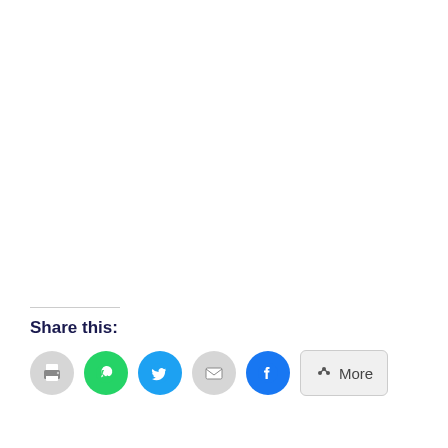Share this:
[Figure (infographic): Social sharing buttons row: print (grey circle), WhatsApp (green circle), Twitter (blue circle), email (grey circle), Facebook (blue circle), and a More button with share icon]